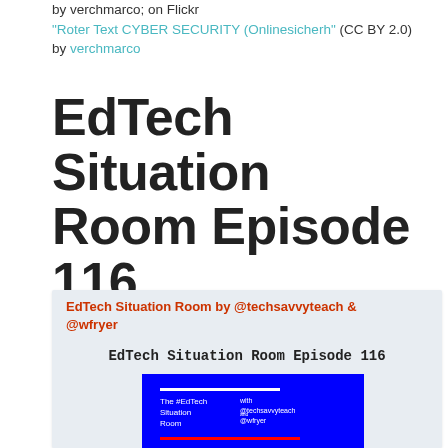by verchmarco; on Flickr "Roter Text CYBER SECURITY (Onlinesicherh" (CC BY 2.0) by verchmarco
EdTech Situation Room Episode 116
[Figure (screenshot): Embedded podcast/media player card with orange-red header text 'EdTech Situation Room by @techsavvyteach & @wfryer', subtitle 'EdTech Situation Room Episode 116', and a blue background thumbnail image showing 'The #EdTech Situation Room with @techsavvyteach and @wfryer' text with white and red horizontal lines on blue background.]